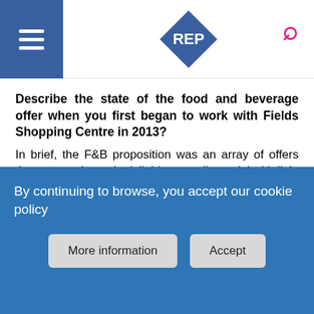REP logo header with hamburger menu and search icon
Describe the state of the food and beverage offer when you first began to work with Fields Shopping Centre in 2013?
In brief, the F&B proposition was an array of offers that were trying to be 'all things to all people' with little focus on professional concepts that would appeal to the many shoppers. 90% of the F&B offer was located on the top level (always a challenge, especially if the space is not well designed and with little appeal). It was a mix-match of traditional fast-food concepts (the regular players) plus too many 'mama and papa operators' that had limited know-how f…
By continuing to browse, you accept our cookie policy
More information  Accept